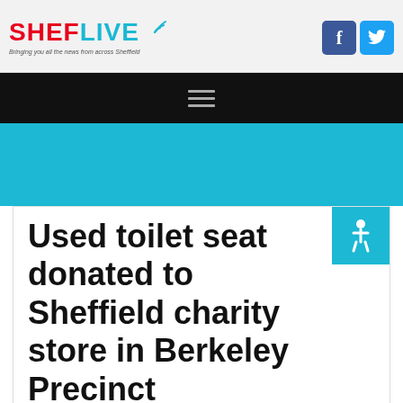SHEFLIVE — Bringing you all the news from across Sheffield
[Figure (screenshot): SHEFLive logo with red SHEF and cyan LIVE text, signal wave graphic, and tagline 'Bringing you all the news from across Sheffield']
[Figure (screenshot): Social media icons: Facebook (blue) and Twitter (cyan)]
[Figure (screenshot): Black navigation bar with hamburger menu icon (three horizontal lines)]
[Figure (screenshot): Cyan/blue banner area]
Used toilet seat donated to Sheffield charity store in Berkeley Precinct